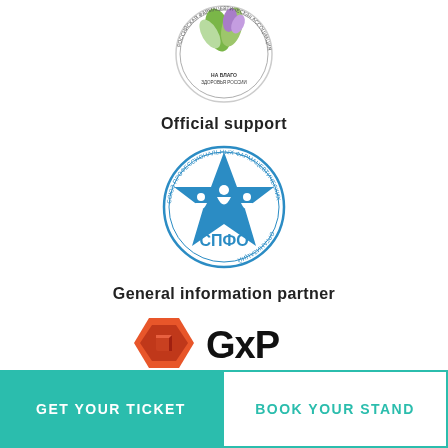[Figure (logo): Top logo - circular Russian healthcare/pharmaceutical organization emblem with plant motif and text]
Official support
[Figure (logo): СПФО logo - blue star with human figures and circular text about professional pharmaceutical organizations]
General information partner
[Figure (logo): GxP news logo - orange hexagon geometric icon with bold GxP news text]
Information support
[Figure (logo): журнал (magazine) logo - partially visible at bottom]
GET YOUR TICKET
BOOK YOUR STAND